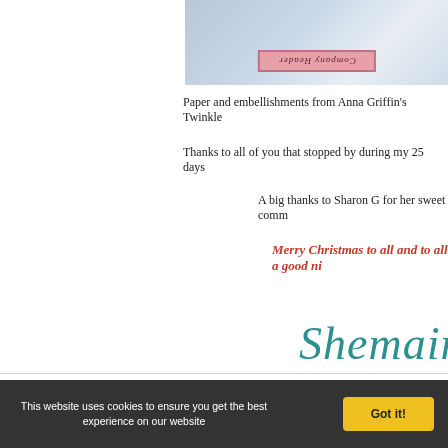[Figure (photo): Partial photo of a decorative item with pink label, partially visible, cropped at top of page]
Paper and embellishments from Anna Griffin's Twinkle
Thanks to all of you that stopped by during my 25 days
A big thanks to Sharon G for her sweet comm
Merry Christmas to all and to all a good ni
[Figure (illustration): Cursive signature reading 'Shemaine' in teal/dark cyan color]
share: facebook | twitter | pinterest
This website uses cookies to ensure you get the best experience on our website